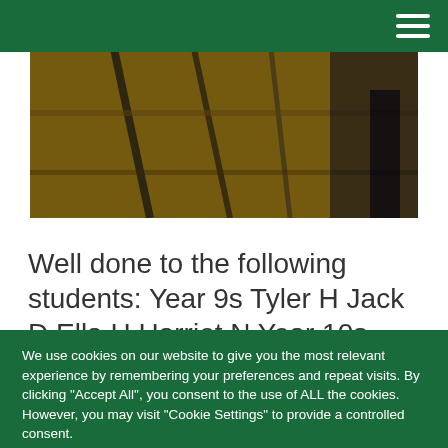[Figure (photo): Photograph of chairs/desks in a classroom or exam hall setting, dark tones]
Well done to the following students: Year 9s Tyler H Jack D Ella H Harriet N Year 10s Fergus D Connor F Ruby Lily D Emma C
We use cookies on our website to give you the most relevant experience by remembering your preferences and repeat visits. By clicking "Accept All", you consent to the use of ALL the cookies. However, you may visit "Cookie Settings" to provide a controlled consent.